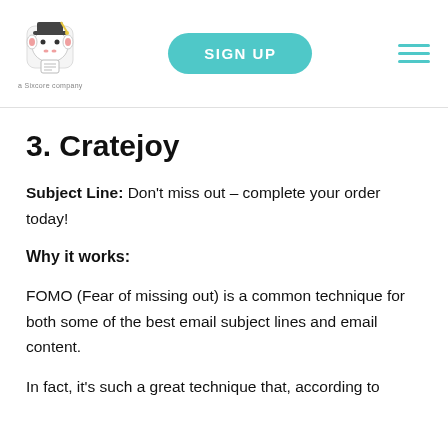SIGN UP | a Sixcore company
3. Cratejoy
Subject Line: Don't miss out – complete your order today!
Why it works:
FOMO (Fear of missing out) is a common technique for both some of the best email subject lines and email content.
In fact, it's such a great technique that, according to